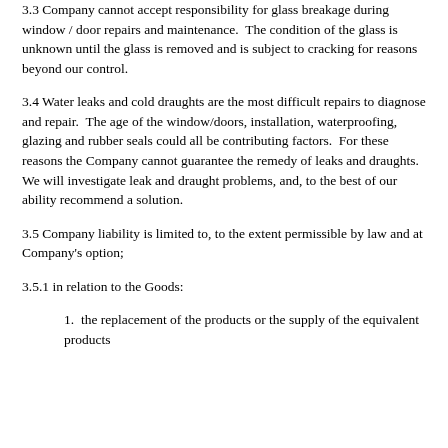3.3 Company cannot accept responsibility for glass breakage during window / door repairs and maintenance.  The condition of the glass is unknown until the glass is removed and is subject to cracking for reasons beyond our control.
3.4 Water leaks and cold draughts are the most difficult repairs to diagnose and repair.  The age of the window/doors, installation, waterproofing, glazing and rubber seals could all be contributing factors.  For these reasons the Company cannot guarantee the remedy of leaks and draughts.  We will investigate leak and draught problems, and, to the best of our ability recommend a solution.
3.5 Company liability is limited to, to the extent permissible by law and at Company's option;
3.5.1 in relation to the Goods:
1.  the replacement of the products or the supply of the equivalent products